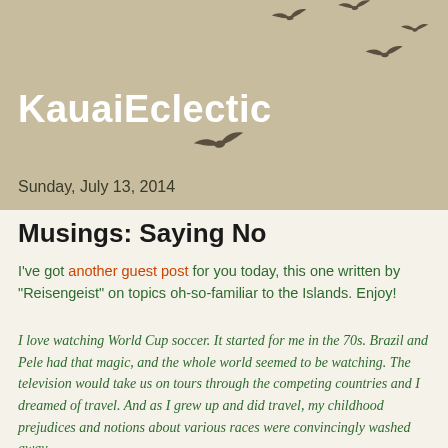[Figure (illustration): Silhouettes of birds flying in a loose diagonal formation against a beige/tan background]
KauaiEclectic
Sunday, July 13, 2014
Musings: Saying No
I've got another guest post for you today, this one written by "Reisengeist" on topics oh-so-familiar to the Islands. Enjoy!
I love watching World Cup soccer. It started for me in the 70s. Brazil and Pele had that magic, and the whole world seemed to be watching. The television would take us on tours through the competing countries and I dreamed of travel. And as I grew up and did travel, my childhood prejudices and notions about various races were convincingly washed away.